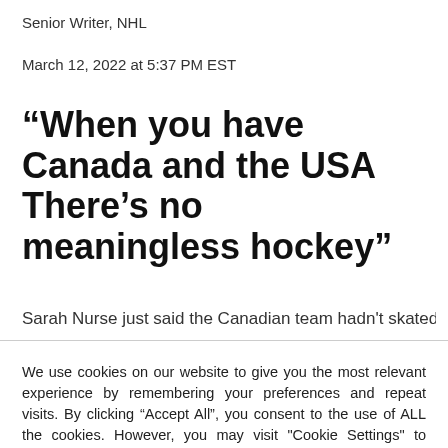Senior Writer, NHL
March 12, 2022 at 5:37 PM EST
“When you have Canada and the USA There’s no meaningless hockey”
Sarah Nurse just said the Canadian team hadn't skated
We use cookies on our website to give you the most relevant experience by remembering your preferences and repeat visits. By clicking “Accept All”, you consent to the use of ALL the cookies. However, you may visit "Cookie Settings" to provide a controlled consent.
Cookie Settings | Accept All